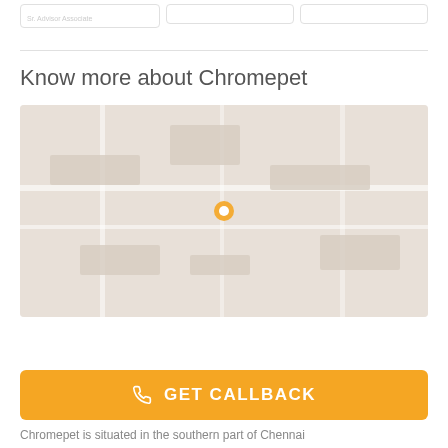[Figure (other): Three card placeholders with light gray borders at the top of the page]
Know more about Chromepet
[Figure (map): Map area showing Chromepet locality]
GET CALLBACK
Chromepet is situated in the southern part of Chennai